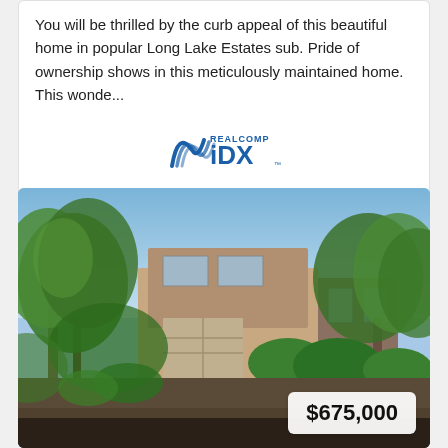You will be thrilled by the curb appeal of this beautiful home in popular Long Lake Estates sub. Pride of ownership shows in this meticulously maintained home. This wonde...
[Figure (logo): Realcomp IDX logo — stylized wave chevron in blue with 'REALCOMP' text above and 'iDX' in bold blue letters]
[Figure (photo): Exterior photo of a residential home surrounded by lush green trees and shrubs, with a driveway in the foreground. Price badge showing $675,000 in the lower right corner.]